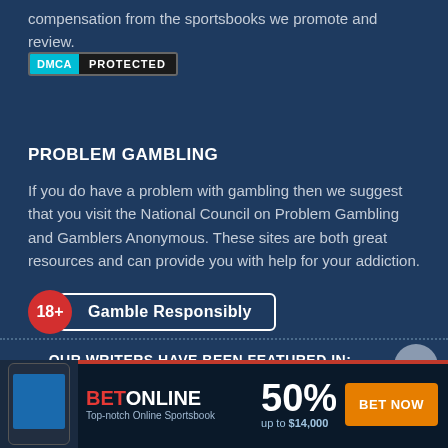compensation from the sportsbooks we promote and review.
[Figure (logo): DMCA Protected badge — cyan left panel with 'DMCA', black right panel with 'PROTECTED']
PROBLEM GAMBLING
If you do have a problem with gambling then we suggest that you visit the National Council on Problem Gambling and Gamblers Anonymous. These sites are both great resources and can provide you with help for your addiction.
[Figure (infographic): 18+ Gamble Responsibly badge — red circle with 18+, white rounded rectangle with 'Gamble Responsibly' text]
OUR WRITERS HAVE BEEN FEATURED IN:
[Figure (infographic): BetOnline ad banner — phone image, BET in red / ONLINE in white, 50% up to $14,000, BET NOW orange button]